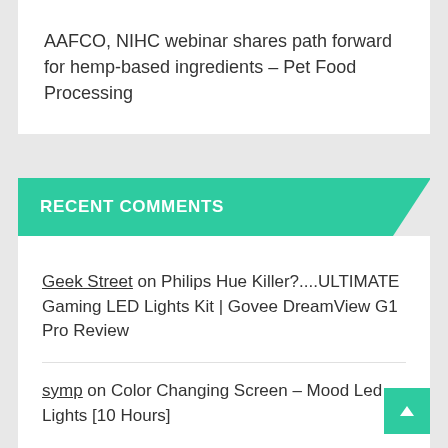AAFCO, NIHC webinar shares path forward for hemp-based ingredients – Pet Food Processing
RECENT COMMENTS
Geek Street on Philips Hue Killer?....ULTIMATE Gaming LED Lights Kit | Govee DreamView G1 Pro Review
symp on Color Changing Screen – Mood Led Lights [10 Hours]